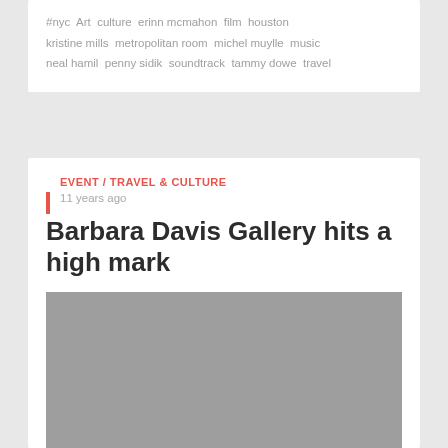#nyc  Art  culture  erinn mcmahon  film  houston  kristine mills  metropolitan room  michel muylle  music  neal hamil  penny sidik  soundtrack  tammy dowe  travel
EVENT / TRAVEL & CULTURE
11 years ago
Barbara Davis Gallery hits a high mark
[Figure (photo): Gray placeholder image for article photo]